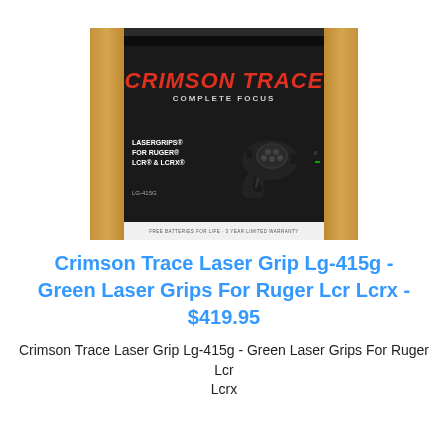[Figure (photo): Product photo of a Crimson Trace branded box showing a revolver handgun with green laser grips. The black box displays 'CRIMSON TRACE' in red italic letters, 'COMPLETE FOCUS' tagline, and shows the LG-415G model number. The box sits on a wooden surface.]
Crimson Trace Laser Grip Lg-415g - Green Laser Grips For Ruger Lcr Lcrx - $419.95
Crimson Trace Laser Grip Lg-415g - Green Laser Grips For Ruger Lcr Lcrx